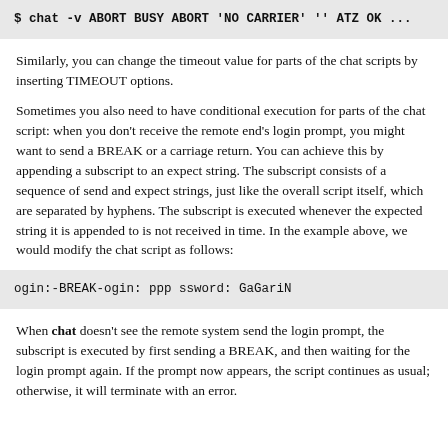[Figure (other): Code block showing: $ chat -v ABORT BUSY ABORT 'NO CARRIER' '' ATZ OK ...]
Similarly, you can change the timeout value for parts of the chat scripts by inserting TIMEOUT options.
Sometimes you also need to have conditional execution for parts of the chat script: when you don't receive the remote end's login prompt, you might want to send a BREAK or a carriage return. You can achieve this by appending a subscript to an expect string. The subscript consists of a sequence of send and expect strings, just like the overall script itself, which are separated by hyphens. The subscript is executed whenever the expected string it is appended to is not received in time. In the example above, we would modify the chat script as follows:
[Figure (other): Code block showing: ogin:-BREAK-ogin: ppp ssword: GaGariN]
When chat doesn't see the remote system send the login prompt, the subscript is executed by first sending a BREAK, and then waiting for the login prompt again. If the prompt now appears, the script continues as usual; otherwise, it will terminate with an error.